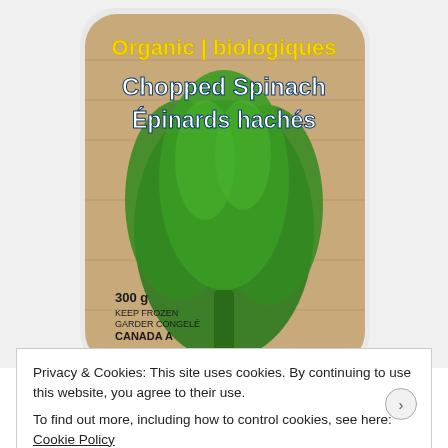[Figure (photo): Frozen food product package: Cookin' Greens Organic Chopped Spinach / Épinards hachés, 300g, Keep Frozen / Garder congelé, Canada A. Package shows green spinach leaves on a wood-background label.]
Image courtesy of Cookin' Greens
The beauty of these products is that you don't have to
Privacy & Cookies: This site uses cookies. By continuing to use this website, you agree to their use.
To find out more, including how to control cookies, see here: Cookie Policy